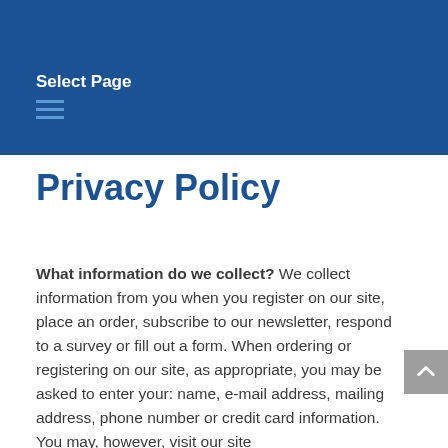Select Page
Privacy Policy
What information do we collect? We collect information from you when you register on our site, place an order, subscribe to our newsletter, respond to a survey or fill out a form. When ordering or registering on our site, as appropriate, you may be asked to enter your: name, e-mail address, mailing address, phone number or credit card information. You may, however, visit our site